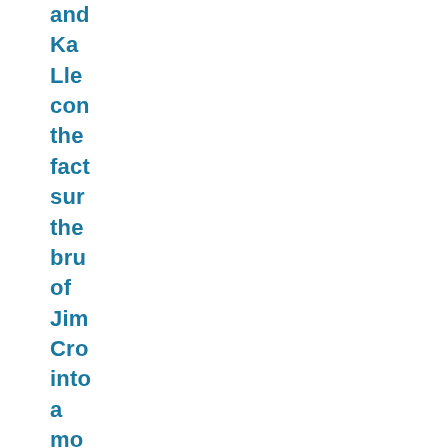and Ka Lle con the fact sur the bru of Jim Cro into a mo -- suc as the fed pro of lyn